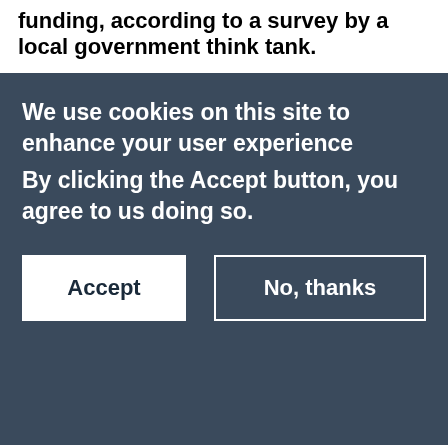funding, according to a survey by a local government think tank.
We use cookies on this site to enhance your user experience
By clicking the Accept button, you agree to us doing so.
Accept
No, thanks